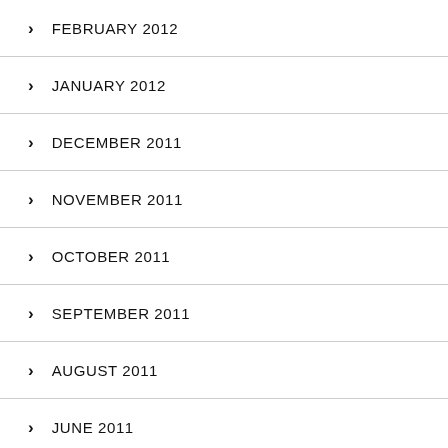FEBRUARY 2012
JANUARY 2012
DECEMBER 2011
NOVEMBER 2011
OCTOBER 2011
SEPTEMBER 2011
AUGUST 2011
JUNE 2011
MAY 2011
APRIL 2011